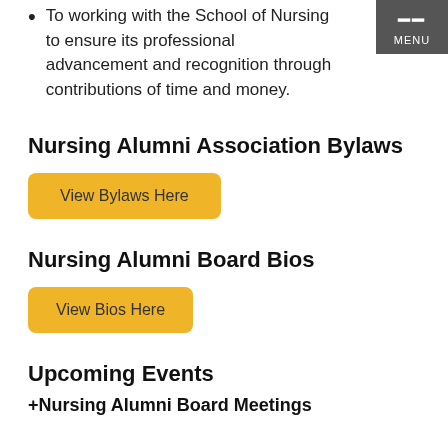To working with the School of Nursing to ensure its professional advancement and recognition through contributions of time and money.
Nursing Alumni Association Bylaws
View Bylaws Here
Nursing Alumni Board Bios
View Bios Here
Upcoming Events
+Nursing Alumni Board Meetings